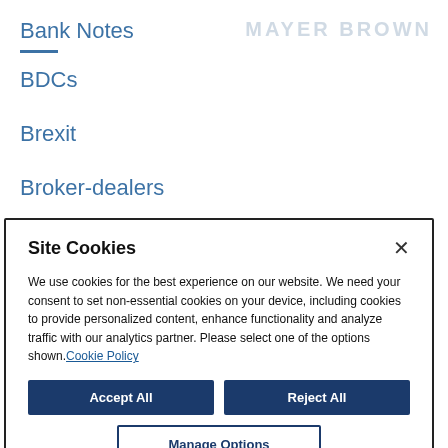Bank Notes
BDCs
Brexit
Broker-dealers
C&DIs
[Figure (logo): Mayer Brown logo in light gray text]
Site Cookies
We use cookies for the best experience on our website. We need your consent to set non-essential cookies on your device, including cookies to provide personalized content, enhance functionality and analyze traffic with our analytics partner. Please select one of the options shown. Cookie Policy
Accept All
Reject All
Manage Options